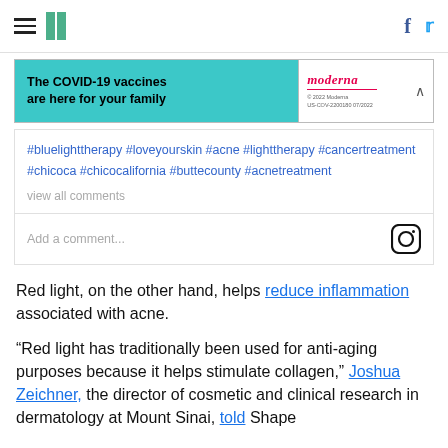HuffPost header with hamburger menu, logo, Facebook and Twitter icons
[Figure (screenshot): Moderna COVID-19 vaccine advertisement banner: 'The COVID-19 vaccines are here for your family' on teal background with Moderna logo]
[Figure (screenshot): Instagram embed showing hashtags: #bluelighttherapy #loveyourskin #acne #lighttherapy #cancertreatment #chicoca #chicocalifornia #buttecounty #acnetreatment, with 'view all comments' and 'Add a comment...' input with Instagram camera icon]
Red light, on the other hand, helps reduce inflammation associated with acne.
"Red light has traditionally been used for anti-aging purposes because it helps stimulate collagen," Joshua Zeichner, the director of cosmetic and clinical research in dermatology at Mount Sinai, told Shape